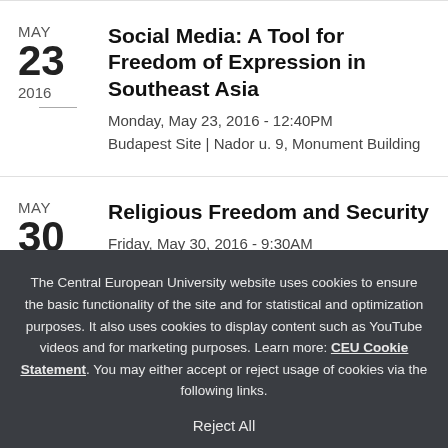MAY 23 2016 | Social Media: A Tool for Freedom of Expression in Southeast Asia | Monday, May 23, 2016 - 12:40PM | Budapest Site | Nador u. 9, Monument Building
MAY 30 | Religious Freedom and Security | Friday, May 30, 2016 - 9:30AM
The Central European University website uses cookies to ensure the basic functionality of the site and for statistical and optimization purposes. It also uses cookies to display content such as YouTube videos and for marketing purposes. Learn more: CEU Cookie Statement. You may either accept or reject usage of cookies via the following links.
Reject All